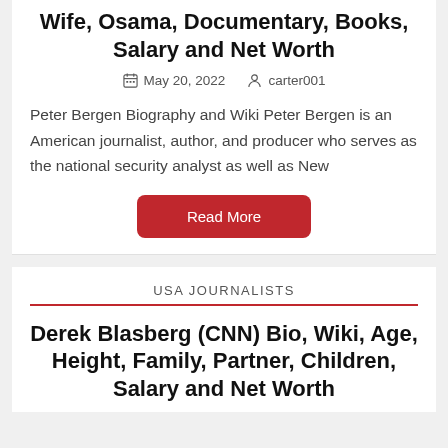Wife, Osama, Documentary, Books, Salary and Net Worth
May 20, 2022    carter001
Peter Bergen Biography and Wiki Peter Bergen is an American journalist, author, and producer who serves as the national security analyst as well as New
Read More
USA JOURNALISTS
Derek Blasberg (CNN) Bio, Wiki, Age, Height, Family, Partner, Children, Salary and Net Worth